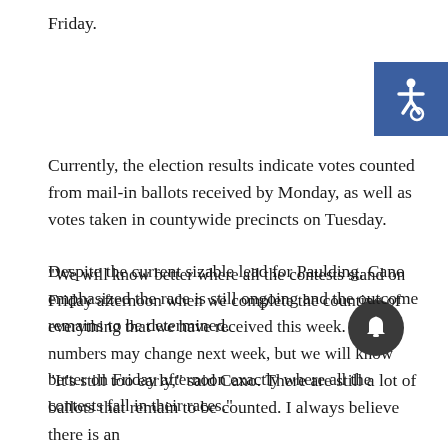Friday.
[Figure (illustration): Blue square with white wheelchair accessibility icon in the top right corner]
Currently, the election results indicate votes counted from mail-in ballots received by Monday, as well as votes taken in countywide precincts on Tuesday.
"We will know better where all the contests stand on Friday afternoon when we complete the counting of everything that we have received this week. The numbers may change next week, but we will know better on Friday afternoon exactly where all the contests fall in their races."
Despite the current sizable lead for Paulding, Cano emphasized the race is still ongoing and the outcome remains to be determined.
[Figure (illustration): Dark circular notification bell button]
"It's still too early," said Cano. There are still a lot of ballots that remain to be counted. I always believe there is an